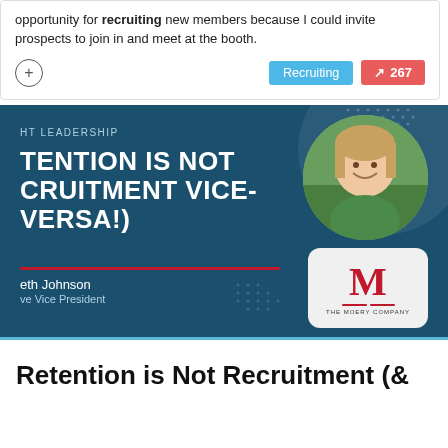opportunity for recruiting new members because I could invite prospects to join in and meet at the booth.
[Figure (screenshot): Social media card with Recruiting tag and 267 engagement count]
[Figure (infographic): Dark teal banner with text: HT LEADERSHIP, TENTION IS NOT CRUITMENT VICE-VERSA!), beth Johnson, ve Vice President. Shows woman's photo and Moery Company logo.]
Retention is Not Recruitment (&